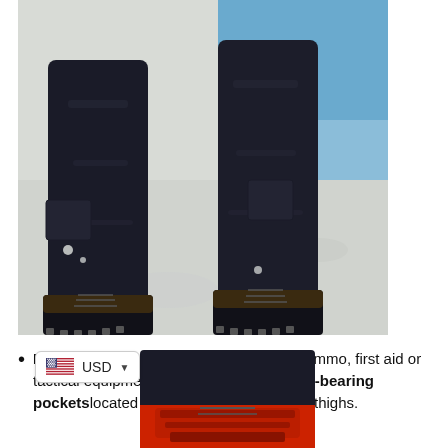[Figure (photo): Person looking down at their legs wearing dark black tactical/cargo pants and black boots with crampons, standing on a snowy surface with blue sky visible in background]
LOW-PROFILE POCKETS - Keep clips, ammo, first aid or tactical equipment accessible with 10 load-bearing pockets located across the front, rear and thighs.
[Figure (photo): Partial view of black and red boots/footwear at the bottom of the page]
USD